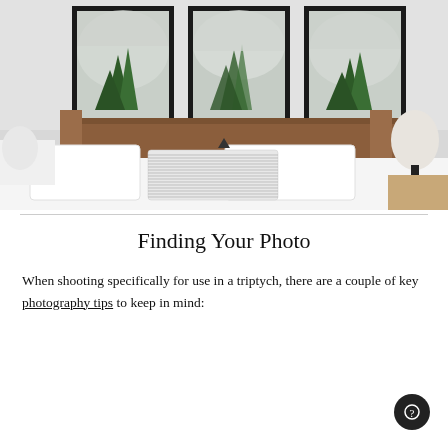[Figure (photo): Bedroom scene with a wooden headboard, white bedding, a striped pillow, and three framed forest/pine tree prints hanging on the wall above the bed. A dark lamp is visible on the right side.]
Finding Your Photo
When shooting specifically for use in a triptych, there are a couple of key photography tips to keep in mind: